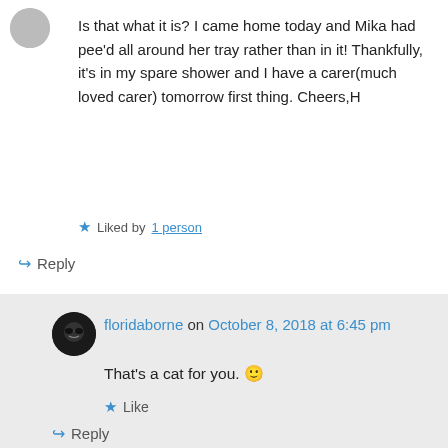Is that what it is? I came home today and Mika had pee'd all around her tray rather than in it! Thankfully, it's in my spare shower and I have a carer(much loved carer) tomorrow first thing. Cheers,H
Liked by 1 person
Reply
floridaborne on October 8, 2018 at 6:45 pm
That's a cat for you. 🙂
Like
Reply